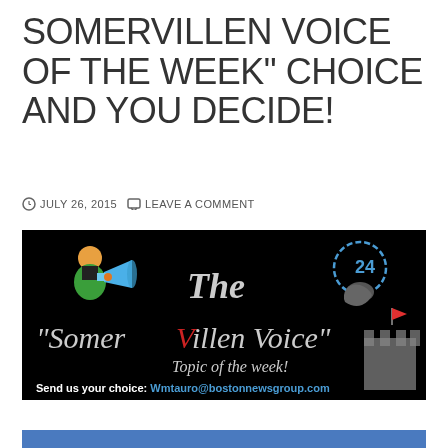SOMERVILLEN VOICE OF THE WEEK" CHOICE AND YOU DECIDE!
JULY 26, 2015   LEAVE A COMMENT
[Figure (illustration): The SomerVillen Voice banner on black background with megaphone/person icon, 24-hour phone icon, italic 'Topic of the week!' text, castle image, and text 'Send us your choice: Wmtauro@bostonnewsgroup.com']